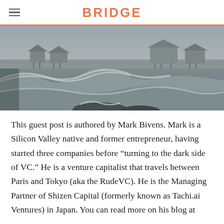BRIDGE
[Figure (photo): Stormy coastal scene with large waves crashing near beachfront houses on stilts under a grey overcast sky]
This guest post is authored by Mark Bivens. Mark is a Silicon Valley native and former entrepreneur, having started three companies before “turning to the dark side of VC.” He is a venture capitalist that travels between Paris and Tokyo (aka the RudeVC). He is the Managing Partner of Shizen Capital (formerly known as Tachi.ai Ventures) in Japan. You can read more on his blog at